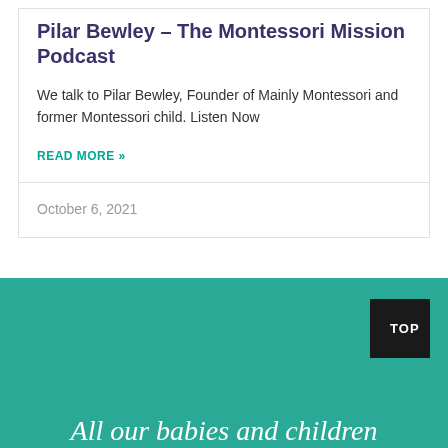Pilar Bewley – The Montessori Mission Podcast
We talk to Pilar Bewley, Founder of Mainly Montessori and former Montessori child. Listen Now
READ MORE »
October 6, 2021
TOP
All our babies and children